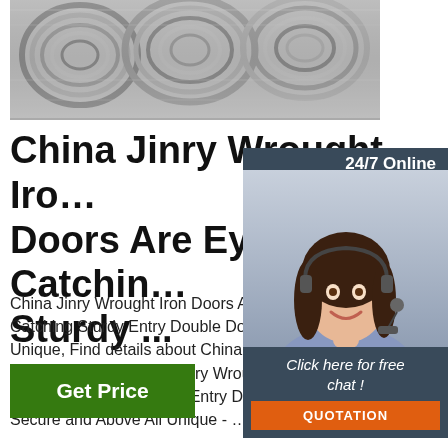[Figure (photo): Coils of steel wire rod, metallic grey color, stacked together]
China Jinry Wrought Iron Doors Are Eye Catching Sturdy ...
China Jinry Wrought Iron Doors Are Eye Catching Sturdy Entry Double Door Secure and Above All Unique, Find details about China Entry Iron Doors, Grand Iron Doors from Jinry Wrought Iron Are Eye Catching Sturdy Entry Double Door Secure and Above All Unique - ...
[Figure (photo): Customer service agent - woman with headset, smiling, with 24/7 Online label and Click here for free chat overlay, plus QUOTATION button]
Get Price
[Figure (logo): TOP logo with orange dots forming a house/triangle shape above the word TOP in orange]